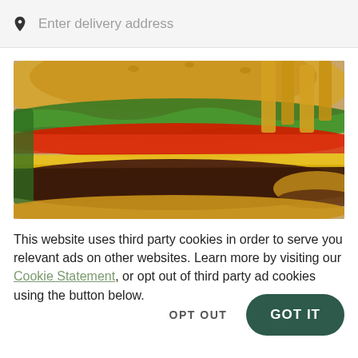Enter delivery address
[Figure (photo): Close-up photo of a large cheeseburger with lettuce, tomato, melted cheese on a beef patty, with french fries and another burger visible in the background]
This website uses third party cookies in order to serve you relevant ads on other websites. Learn more by visiting our Cookie Statement, or opt out of third party ad cookies using the button below.
OPT OUT
GOT IT